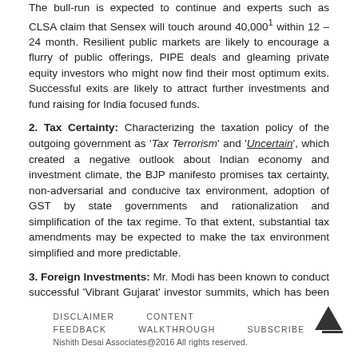The bull-run is expected to continue and experts such as CLSA claim that Sensex will touch around 40,000¹ within 12 – 24 month. Resilient public markets are likely to encourage a flurry of public offerings, PIPE deals and gleaming private equity investors who might now find their most optimum exits. Successful exits are likely to attract further investments and fund raising for India focused funds.
2. Tax Certainty: Characterizing the taxation policy of the outgoing government as 'Tax Terrorism' and 'Uncertain', which created a negative outlook about Indian economy and investment climate, the BJP manifesto promises tax certainty, non-adversarial and conducive tax environment, adoption of GST by state governments and rationalization and simplification of the tax regime. To that extent, substantial tax amendments may be expected to make the tax environment simplified and more predictable.
3. Foreign Investments: Mr. Modi has been known to conduct successful 'Vibrant Gujarat' investor summits, which has been well received by both national and international investors and business houses. He is also seen as an advocate of foreign investments and the BJP manifesto (see http://www.bjp.org/images/pdf_2014/full_manifesto_english_07.04.2014.pdf) supports this. To that extent, foreign investment is likely to accentuate in time to come.
4. Corruption and Governance: The BJP campaign focused on slogan...
DISCLAIMER   CONTENT   FEEDBACK   WALKTHROUGH   SUBSCRIBE
Nishith Desai Associates@2016 All rights reserved.